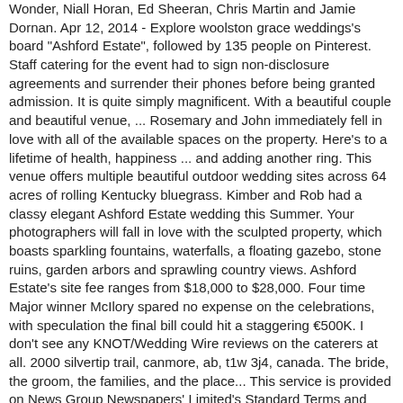Wonder, Niall Horan, Ed Sheeran, Chris Martin and Jamie Dornan. Apr 12, 2014 - Explore woolston grace weddings's board "Ashford Estate", followed by 135 people on Pinterest. Staff catering for the event had to sign non-disclosure agreements and surrender their phones before being granted admission. It is quite simply magnificent. With a beautiful couple and beautiful venue, ... Rosemary and John immediately fell in love with all of the available spaces on the property. Here's to a lifetime of health, happiness ... and adding another ring. This venue offers multiple beautiful outdoor wedding sites across 64 acres of rolling Kentucky bluegrass. Kimber and Rob had a classy elegant Ashford Estate wedding this Summer. Your photographers will fall in love with the sculpted property, which boasts sparkling fountains, waterfalls, a floating gazebo, stone ruins, garden arbors and sprawling country views. Ashford Estate's site fee ranges from $18,000 to $28,000. Four time Major winner McIlory spared no expense on the celebrations, with speculation the final bill could hit a staggering €500K. I don't see any KNOT/Wedding Wire reviews on the caterers at all. 2000 silvertip trail, canmore, ab, t1w 3j4, canada. The bride, the groom, the families, and the place... This service is provided on News Group Newspapers' Limited's Standard Terms and Conditions in accordance with our Privacy & Cookie Policy. They regularly perform at Pleasantdale Chateau, The Manor, The Breakers, Crystal Point Yacht Club, Mayfair Farms, The Park Savoy, The Shadowbrook, English Manor, Perona Farms, Crystal Plaza, The Rockleigh, Liberty House, Water's Edge, The Mill,